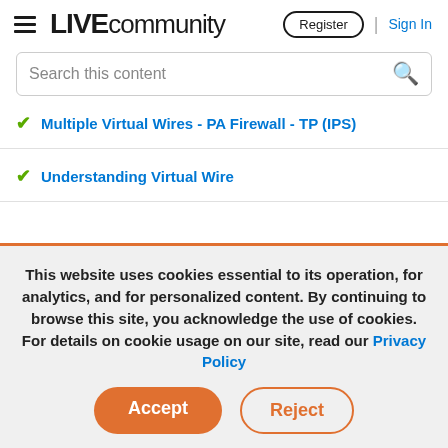LIVE community | Register | Sign In
Search this content
Multiple Virtual Wires - PA Firewall - TP (IPS)
Understanding Virtual Wire
This website uses cookies essential to its operation, for analytics, and for personalized content. By continuing to browse this site, you acknowledge the use of cookies. For details on cookie usage on our site, read our Privacy Policy